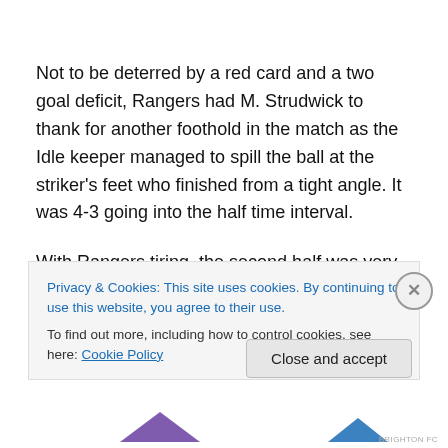Not to be deterred by a red card and a two goal deficit, Rangers had M. Strudwick to thank for another foothold in the match as the Idle keeper managed to spill the ball at the striker's feet who finished from a tight angle. It was 4-3 going into the half time interval.
With Rangers tiring, the second half was very much dominated by Idle who were passing the ball around at a canter and created several opportunities to increase their lead. Rangers showed heart and determination to keep
Privacy & Cookies: This site uses cookies. By continuing to use this website, you agree to their use.
To find out more, including how to control cookies, see here: Cookie Policy
Close and accept